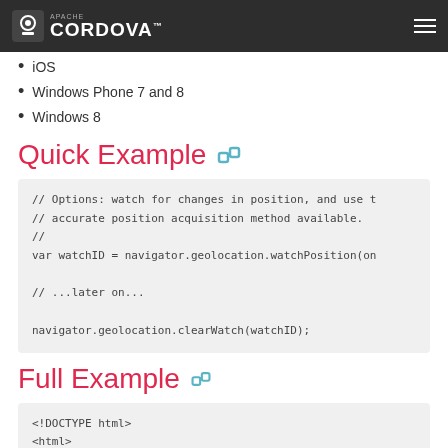Apache Cordova
iOS
Windows Phone 7 and 8
Windows 8
Quick Example
// Options: watch for changes in position, and use t
// accurate position acquisition method available.
//
var watchID = navigator.geolocation.watchPosition(on

// ...later on...

navigator.geolocation.clearWatch(watchID);
Full Example
<!DOCTYPE html>
<html>